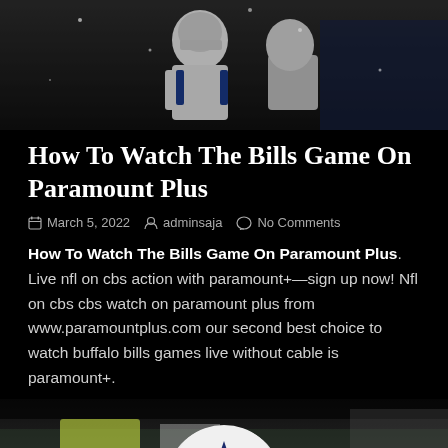[Figure (photo): NFL football players in white and blue uniforms during a game, dark/snowy atmosphere]
How To Watch The Bills Game On Paramount Plus
March 5, 2022  adminsaja  No Comments
How To Watch The Bills Game On Paramount Plus. Live nfl on cbs action with paramount+—sign up now! Nfl on cbs cbs watch on paramount plus from www.paramountplus.com our second best choice to watch buffalo bills games live without cable is paramount+.
[Figure (photo): Dallas Cowboys player wearing white helmet with star logo, crowd in background]